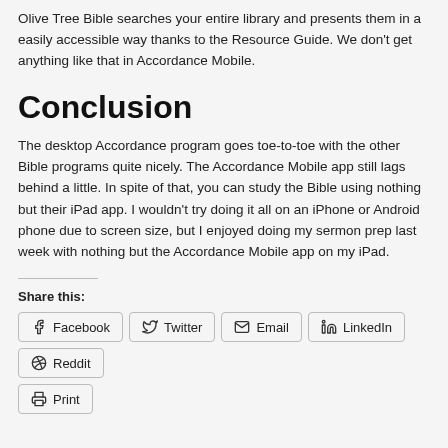Olive Tree Bible searches your entire library and presents them in a easily accessible way thanks to the Resource Guide. We don't get anything like that in Accordance Mobile.
Conclusion
The desktop Accordance program goes toe-to-toe with the other Bible programs quite nicely. The Accordance Mobile app still lags behind a little. In spite of that, you can study the Bible using nothing but their iPad app. I wouldn't try doing it all on an iPhone or Android phone due to screen size, but I enjoyed doing my sermon prep last week with nothing but the Accordance Mobile app on my iPad.
Share this:
Facebook  Twitter  Email  LinkedIn  Reddit  Print